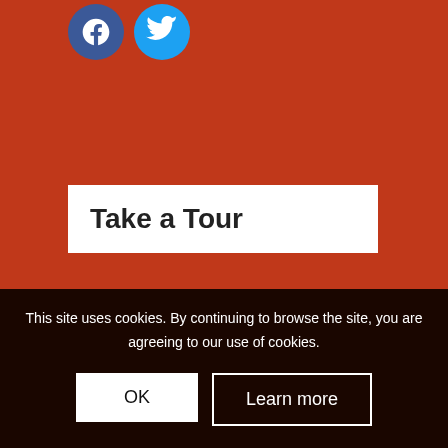[Figure (logo): Facebook and Twitter social media icon circles at top of page]
Take a Tour
If you would like to view our nursery please call us on 01732 605341 and we will be happy to arrange a time that suits.
This site uses cookies. By continuing to browse the site, you are agreeing to our use of cookies.
OK
Learn more